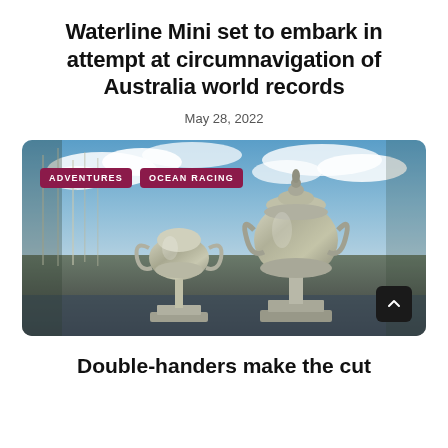Waterline Mini set to embark in attempt at circumnavigation of Australia world records
May 28, 2022
[Figure (photo): Two silver sailing trophies displayed against a marina background with sailboat masts and blue sky with clouds. Overlaid tags read ADVENTURES and OCEAN RACING. A dark scroll-to-top button is in the bottom-right corner.]
Double-handers make the cut